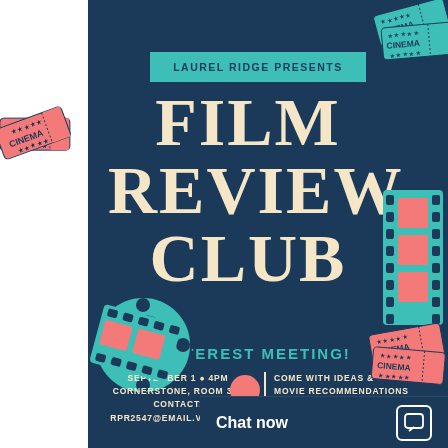[Figure (illustration): Event flyer for Laurel Ridge Film Review Club interest meeting on a dark navy background with decorative cinema tickets, film reels, and film strips in teal and pink/salmon colors.]
LAUREL RIDGE PRESENTS
FILM REVIEW CLUB
INTEREST MEETING!
SEPTEMBER 1 ● 4PM
CORNERSTONE, ROOM 300
CONTACT:
RPR2547@EMAIL.VCCS.EDU
COME WITH IDEAS & MOVIE RECOMMENDATIONS
REFRESHMENTS PROVIDED!
Chat now